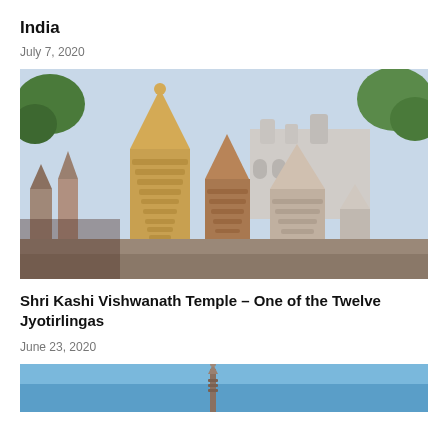India
July 7, 2020
[Figure (photo): Photo of Kashi Vishwanath temple complex showing multiple ornate Hindu temple spires (shikhara) in golden-brown stone, with trees in the background and a mosque visible behind.]
Shri Kashi Vishwanath Temple – One of the Twelve Jyotirlingas
June 23, 2020
[Figure (photo): Partial photo showing a temple spire against a blue sky, cropped at bottom of page.]